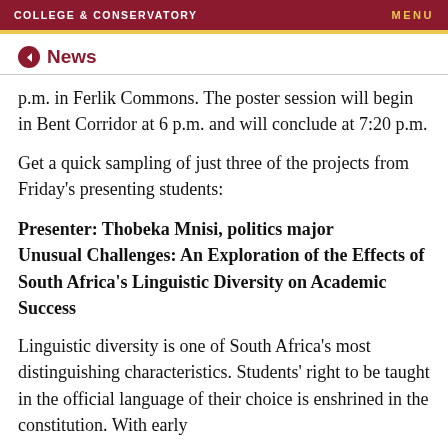COLLEGE & CONSERVATORY   MENU
News
p.m. in Ferlik Commons. The poster session will begin in Bent Corridor at 6 p.m. and will conclude at 7:20 p.m.
Get a quick sampling of just three of the projects from Friday's presenting students:
Presenter: Thobeka Mnisi, politics major Unusual Challenges: An Exploration of the Effects of South Africa's Linguistic Diversity on Academic Success
Linguistic diversity is one of South Africa's most distinguishing characteristics. Students' right to be taught in the official language of their choice is enshrined in the constitution. With early